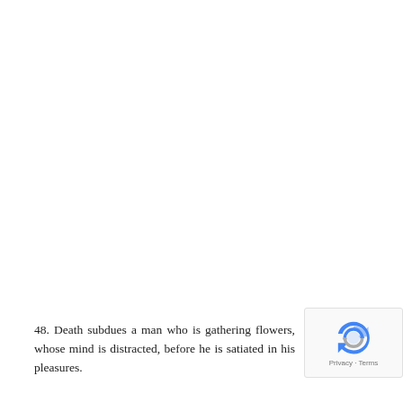48. Death subdues a man who is gathering flowers, whose mind is distracted, before he is satiated in his pleasures.